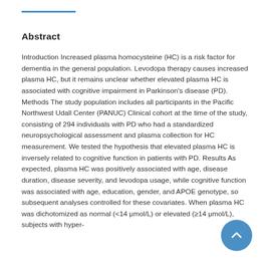Abstract
Introduction Increased plasma homocysteine (HC) is a risk factor for dementia in the general population. Levodopa therapy causes increased plasma HC, but it remains unclear whether elevated plasma HC is associated with cognitive impairment in Parkinson's disease (PD). Methods The study population includes all participants in the Pacific Northwest Udall Center (PANUC) Clinical cohort at the time of the study, consisting of 294 individuals with PD who had a standardized neuropsychological assessment and plasma collection for HC measurement. We tested the hypothesis that elevated plasma HC is inversely related to cognitive function in patients with PD. Results As expected, plasma HC was positively associated with age, disease duration, disease severity, and levodopa usage, while cognitive function was associated with age, education, gender, and APOE genotype, so subsequent analyses controlled for these covariates. When plasma HC was dichotomized as normal (<14 μmol/L) or elevated (≥14 μmol/L), subjects with hyper-